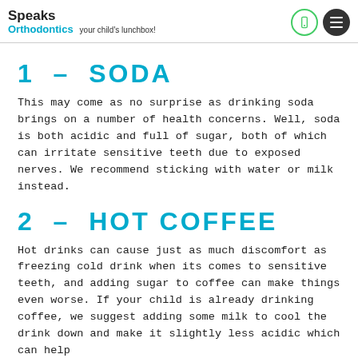Speaks Orthodontics — your child's lunchbox!
1 – SODA
This may come as no surprise as drinking soda brings on a number of health concerns. Well, soda is both acidic and full of sugar, both of which can irritate sensitive teeth due to exposed nerves. We recommend sticking with water or milk instead.
2 – HOT COFFEE
Hot drinks can cause just as much discomfort as freezing cold drink when its comes to sensitive teeth, and adding sugar to coffee can make things even worse. If your child is already drinking coffee, we suggest adding some milk to cool the drink down and make it slightly less acidic which can help alleviate some sensitivity.